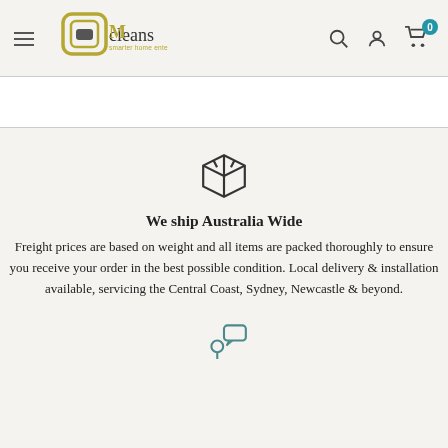Mcleans smarter home entertainment
[Figure (illustration): Box/package icon representing shipping]
We ship Australia Wide
Freight prices are based on weight and all items are packed thoroughly to ensure you receive your order in the best possible condition. Local delivery & installation available, servicing the Central Coast, Sydney, Newcastle & beyond.
[Figure (illustration): Person with speech bubble icon at bottom of page]